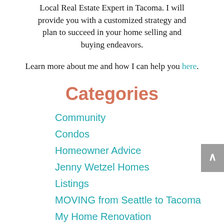Local Real Estate Expert in Tacoma. I will provide you with a customized strategy and plan to succeed in your home selling and buying endeavors.
Learn more about me and how I can help you here.
Categories
Community
Condos
Homeowner Advice
Jenny Wetzel Homes
Listings
MOVING from Seattle to Tacoma
My Home Renovation